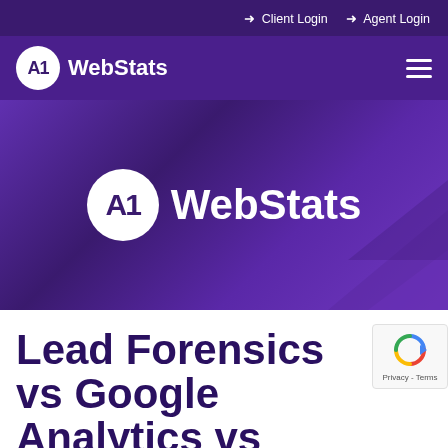➜ Client Login ➜ Agent Login
[Figure (logo): A1 WebStats logo in navigation bar — white circle with 'A1' in dark purple, followed by 'WebStats' in white text, on purple background with hamburger menu icon on right]
[Figure (logo): A1 WebStats hero banner — large centered logo on purple gradient background with decorative geometric shapes in lower right corner]
Lead Forensics vs Google Analytics vs